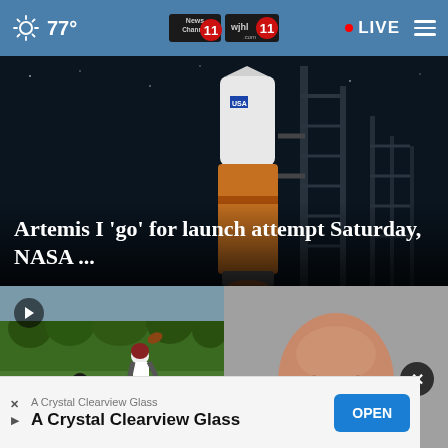77° | News Channel 11 WJHL | LIVE
[Figure (photo): NASA Artemis I rocket on launch pad at night, orange fuel tank and launch structure visible]
Artemis I 'go' for launch attempt Saturday, NASA ...
[Figure (photo): High school football players on field, play button overlay indicating video content]
Final scores: Week 3 high...
[Figure (photo): Close-up mugshot photo of a bald man]
authorities...
A Crystal Clearview Glass | A Crystal Clearview Glass | OPEN